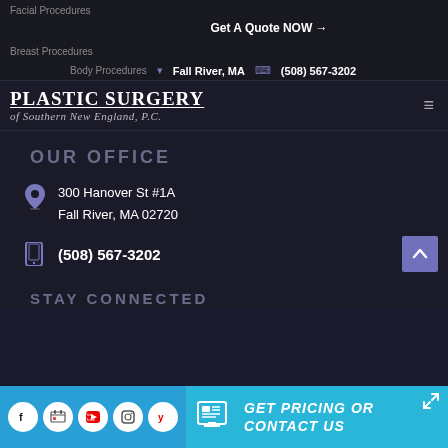Facial Procedures
Get A Quote NOW →
Breast Procedures
Body Procedures
Fall River, MA   (508) 567-3202
PLASTIC SURGERY of Southern New England, P.C.
OUR OFFICE
300 Hanover St #1A
Fall River, MA 02720
(508) 567-3202
STAY CONNECTED
GET PRICING OR CONTACT US